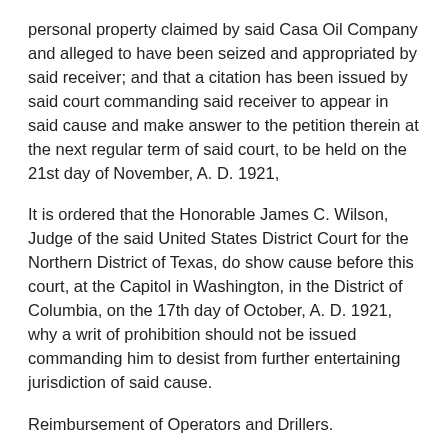personal property claimed by said Casa Oil Company and alleged to have been seized and appropriated by said receiver; and that a citation has been issued by said court commanding said receiver to appear in said cause and make answer to the petition therein at the next regular term of said court, to be held on the 21st day of November, A. D. 1921,
It is ordered that the Honorable James C. Wilson, Judge of the said United States District Court for the Northern District of Texas, do show cause before this court, at the Capitol in Washington, in the District of Columbia, on the 17th day of October, A. D. 1921, why a writ of prohibition should not be issued commanding him to desist from further entertaining jurisdiction of said cause.
Reimbursement of Operators and Drillers.
It is ordered that Frederick A. Delano, receiver, be and he is hereby authorized, in his discretion, out of thirteen-sixteenths